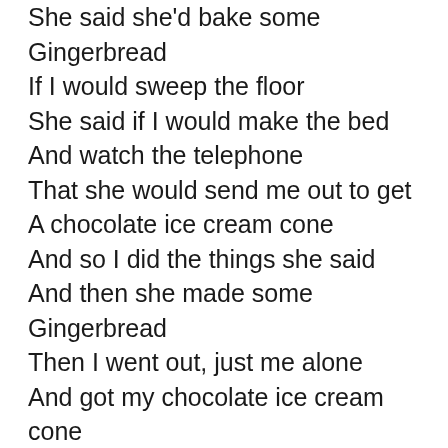She said she'd bake some Gingerbread
If I would sweep the floor
She said if I would make the bed
And watch the telephone
That she would send me out to get
A chocolate ice cream cone
And so I did the things she said
And then she made some Gingerbread
Then I went out, just me alone
And got my chocolate ice cream cone
While coming back I stubbed my toe
Upon a big old stone
Now need I tell you that I dropped
My chocolate ice cream cone